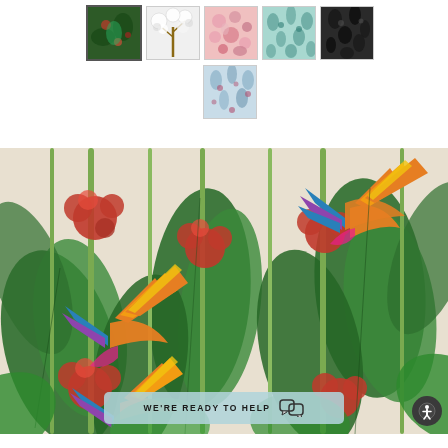[Figure (photo): Row of 5 fabric/wallpaper pattern thumbnail images: dark green floral (selected/bordered), white blossom tree, pink floral, teal pattern, dark/black floral]
[Figure (photo): Single centered thumbnail: light blue floral pattern]
[Figure (photo): Large main product image showing a tropical botanical wallpaper/fabric pattern with bird of paradise flowers (orange, yellow, blue, purple), large green leaves, and red cluster flowers on a cream/beige background]
WE'RE READY TO HELP